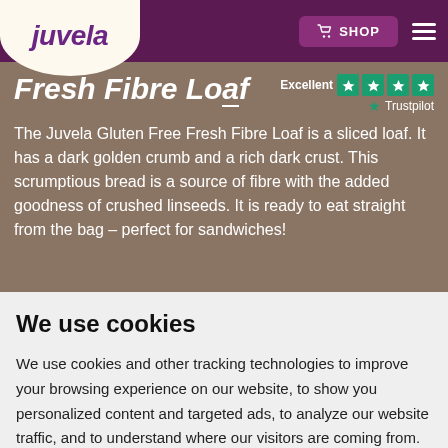[Figure (logo): Juvela logo in purple italic text on cream background]
Fresh Fibre Loaf
[Figure (infographic): Trustpilot rating: Excellent, 4 green stars]
The Juvela Gluten Free Fresh Fibre Loaf is a sliced loaf. It has a dark golden crumb and a rich dark crust. This scrumptious bread is a source of fibre with the added goodness of crushed linseeds. It is ready to eat straight from the bag – perfect for sandwiches!
We use cookies
We use cookies and other tracking technologies to improve your browsing experience on our website, to show you personalized content and targeted ads, to analyze our website traffic, and to understand where our visitors are coming from.